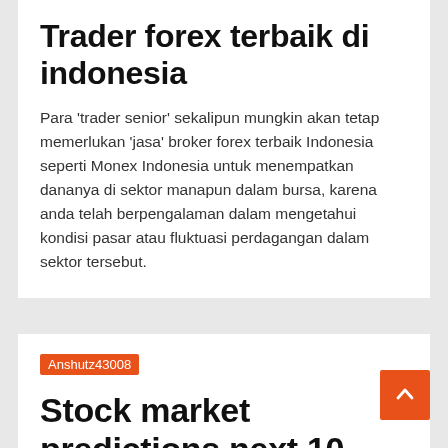Trader forex terbaik di indonesia
Para 'trader senior' sekalipun mungkin akan tetap memerlukan 'jasa' broker forex terbaik Indonesia seperti Monex Indonesia untuk menempatkan dananya di sektor manapun dalam bursa, karena anda telah berpengalaman dalam mengetahui kondisi pasar atau fluktuasi perdagangan dalam sektor tersebut.
Anshutz43008
Stock market predictions next 10 years
TRADING ECONOMICS provides forecasts for major stock